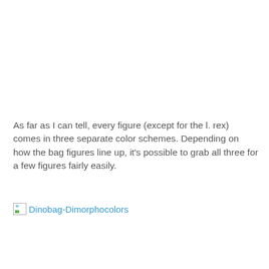As far as I can tell, every figure (except for the l. rex) comes in three separate color schemes. Depending on how the bag figures line up, it's possible to grab all three for a few figures fairly easily.
[Figure (other): Broken image placeholder with link text 'Dinobag-Dimorphocolors']